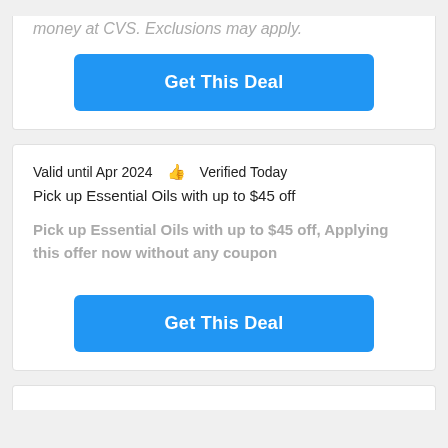money at CVS. Exclusions may apply.
Get This Deal
Valid until Apr 2024   👍   Verified Today
Pick up Essential Oils with up to $45 off
Pick up Essential Oils with up to $45 off, Applying this offer now without any coupon
Get This Deal